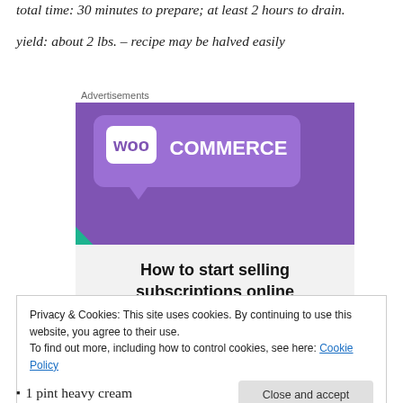total time: 30 minutes to prepare; at least 2 hours to drain.
yield: about 2 lbs. – recipe may be halved easily
[Figure (screenshot): WooCommerce advertisement banner: purple background with WooCommerce logo and text 'How to start selling subscriptions online', with teal and blue decorative shapes on light grey lower half.]
Privacy & Cookies: This site uses cookies. By continuing to use this website, you agree to their use.
To find out more, including how to control cookies, see here: Cookie Policy
1 pint heavy cream